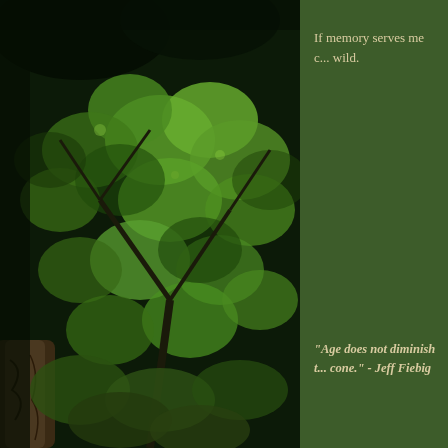[Figure (photo): Looking up through green tree canopy with large maple-like leaves backlit against a dark forest background, tree trunk visible at lower left]
If memory serves me c... wild.
"Age does not diminish t... cone." - Jeff Fiebig